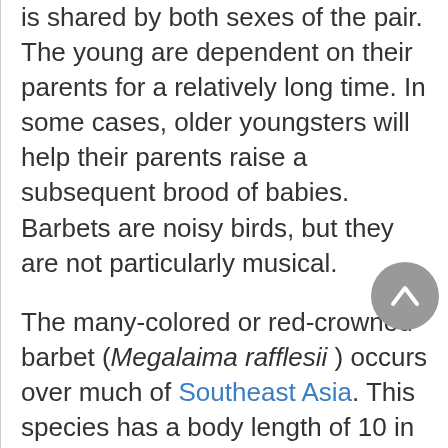is shared by both sexes of the pair. The young are dependent on their parents for a relatively long time. In some cases, older youngsters will help their parents raise a subsequent brood of babies. Barbets are noisy birds, but they are not particularly musical.
The many-colored or red-crowned barbet (Megalaima rafflesii) occurs over much of Southeast Asia. This species has a body length of 10 in (25 cm), and is a particularly beautiful bird, with a bright green back, wings and